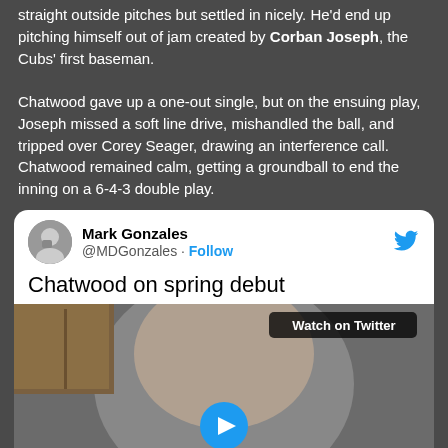straight outside pitches but settled in nicely. He'd end up pitching himself out of jam created by Corban Joseph, the Cubs' first baseman.

Chatwood gave up a one-out single, but on the ensuing play, Joseph missed a soft line drive, mishandled the ball, and tripped over Corey Seager, drawing an interference call. Chatwood remained calm, getting a groundball to end the inning on a 6-4-3 double play.
[Figure (screenshot): Embedded tweet from @MDGonzales (Mark Gonzales) with title 'Chatwood on spring debut' and a video thumbnail showing a man's face with a 'Watch on Twitter' badge and a play button.]